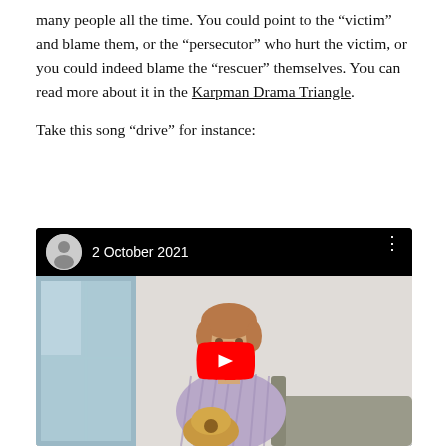many people all the time. You could point to the “victim” and blame them, or the “persecutor” who hurt the victim, or you could indeed blame the “rescuer” themselves. You can read more about it in the Karpman Drama Triangle.

Take this song “drive” for instance:
[Figure (screenshot): YouTube video embed showing a man playing guitar, with a black header bar displaying a profile photo avatar, the date '2 October 2021', and a three-dot menu icon. A large red YouTube play button is centered over the video thumbnail.]